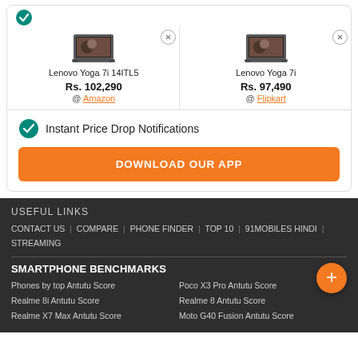[Figure (screenshot): Product comparison card showing two Lenovo Yoga laptops with prices and store links, notification section with download app button, and footer with useful links and smartphone benchmarks]
Lenovo Yoga 7i 14ITL5
Rs. 102,290 @ Amazon
Lenovo Yoga 7i
Rs. 97,490 @ Flipkart
Instant Price Drop Notifications
DOWNLOAD OUR APP
USEFUL LINKS
CONTACT US | COMPARE | PHONE FINDER | TOP 10 | 91MOBILES HINDI | STREAMING
SMARTPHONE BENCHMARKS
Phones by top Antutu Score
Poco X3 Pro Antutu Score
Realme 8i Antutu Score
Realme 8 Antutu Score
Realme X7 Max Antutu Score
Moto G40 Fusion Antutu Score